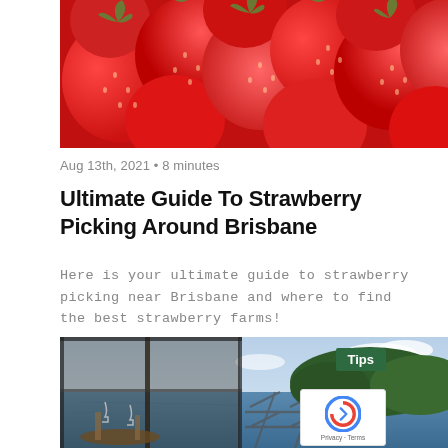[Figure (photo): Close-up photo of fresh red strawberries filling the frame]
Aug 13th, 2021 • 8 minutes
Ultimate Guide To Strawberry Picking Around Brisbane
Here is your ultimate guide to strawberry picking near Brisbane and where to find the best strawberry farms!
[Figure (photo): Waterfront restaurant with open glass walls overlooking a bay with tree-covered hills]
Tips